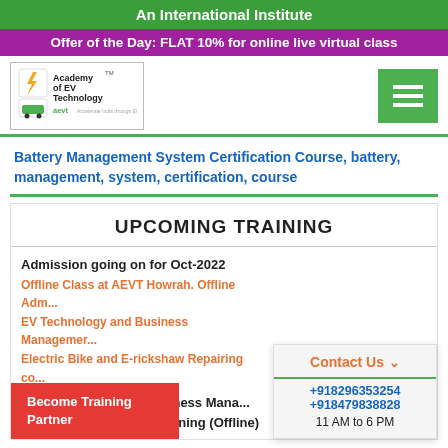An International Institute
Offer of the Day: FLAT 10% for online live virtual class
[Figure (logo): Academy of EV Technology (AEVT) logo with electric car and charging icon]
Battery Management System Certification Course, battery, management, system, certification, course
UPCOMING TRAINING
Admission going on for Oct-2022
Offline Class at AEVT Howrah. Offline Adm... EV Technology and Business Managemer... Electric Bike and E-rickshaw Repairing co...
EV Technology and Business Mana... Techno...Commercial Training (Offline)
Become Training Partner
Contact Us
+918296353254
+918479838828
11 AM to 6 PM